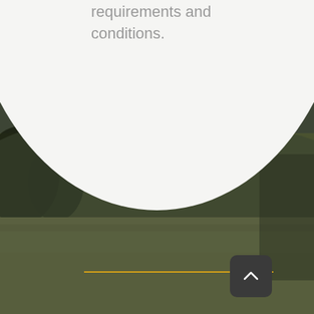requirements and conditions.
[Figure (illustration): Blurred outdoor landscape photo with dark green grass field and mountains/trees in background, partially covered by a large white oval/circle shape in upper portion. An orange horizontal line and a dark rounded square button with an upward chevron arrow are visible at the bottom.]